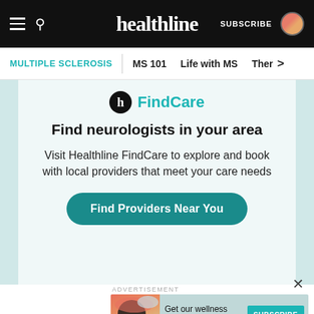healthline | SUBSCRIBE
MULTIPLE SCLEROSIS | MS 101 | Life with MS | Ther >
[Figure (logo): Healthline FindCare logo: black circle with h icon, and teal FindCare text]
Find neurologists in your area
Visit Healthline FindCare to explore and book with local providers that meet your care needs
Find Providers Near You
ADVERTISEMENT
Get our wellness newsletter.